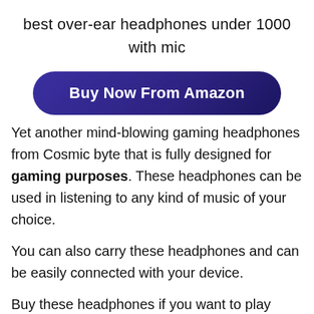best over-ear headphones under 1000
with mic
[Figure (other): A dark navy/purple rounded button with white bold text reading 'Buy Now From Amazon']
Yet another mind-blowing gaming headphones from Cosmic byte that is fully designed for gaming purposes. These headphones can be used in listening to any kind of music of your choice.
You can also carry these headphones and can be easily connected with your device.
Buy these headphones if you want to play games or listen to music in future. These are the best...